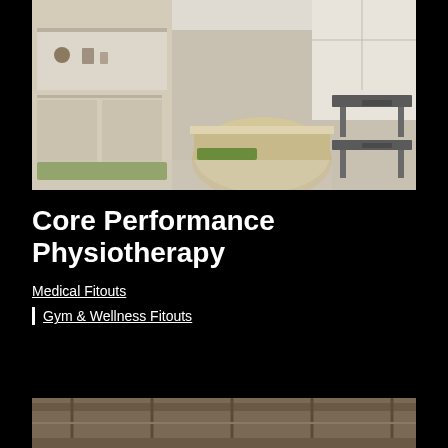[Figure (photo): Interior of a physiotherapy clinic with a curved wooden reception desk, green cushioned bench seating, light wood cabinetry, and adjustable medical treatment tables visible on the right side. Light polished concrete floors and bright windows.]
Core Performance Physiotherapy
Medical Fitouts
| Gym & Wellness Fitouts
[Figure (photo): Partial view of a construction or interior fitout showing ceiling beams and structural elements.]